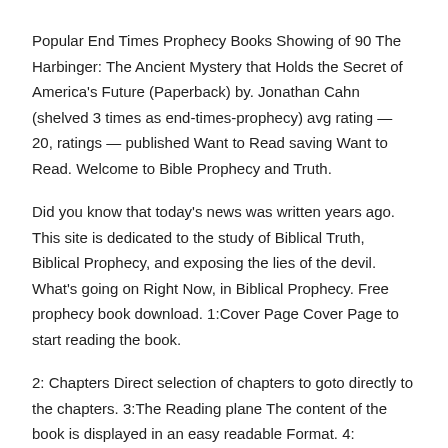Popular End Times Prophecy Books Showing of 90 The Harbinger: The Ancient Mystery that Holds the Secret of America's Future (Paperback) by. Jonathan Cahn (shelved 3 times as end-times-prophecy) avg rating — 20, ratings — published Want to Read saving Want to Read. Welcome to Bible Prophecy and Truth.
Did you know that today's news was written years ago. This site is dedicated to the study of Biblical Truth, Biblical Prophecy, and exposing the lies of the devil. What's going on Right Now, in Biblical Prophecy. Free prophecy book download. 1:Cover Page Cover Page to start reading the book.
2: Chapters Direct selection of chapters to goto directly to the chapters. 3:The Reading plane The content of the book is displayed in an easy readable Format. 4: Bookmark a page Tap bookmark button so that you can get back to.
We have updated the bookstore. Please create a new account. New Products. Is The United States in Bible Prophecy.